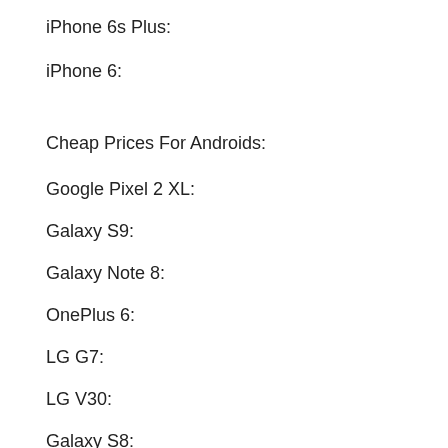iPhone 6s Plus:
iPhone 6:
Cheap Prices For Androids:
Google Pixel 2 XL:
Galaxy S9:
Galaxy Note 8:
OnePlus 6:
LG G7:
LG V30:
Galaxy S8:
The iPhone 8 came out in 2017, so how does it hold up in 2019? Let's Find Out!
Should You Buy a iPhone 6 In 2018?